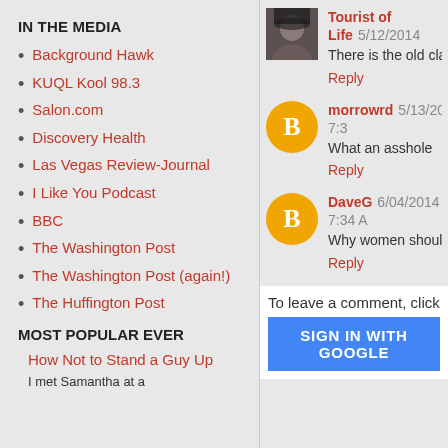IN THE MEDIA
Background Hawk
KUQL Kool 98.3
Salon.com
Discovery Health
Las Vegas Review-Journal
I Like You Podcast
BBC
The Washington Post
The Washington Post (again!)
The Huffington Post
MOST POPULAR EVER
How Not to Stand a Guy Up
I met Samantha at a
Tourist of Life 5/12/2014
There is the old classic "H
Reply
morrowrd 5/13/2014 7:3
What an asshole
Reply
DaveG 6/04/2014 7:34 A
Why women shouldn't da
Reply
To leave a comment, click th
SIGN IN WITH GOOGLE